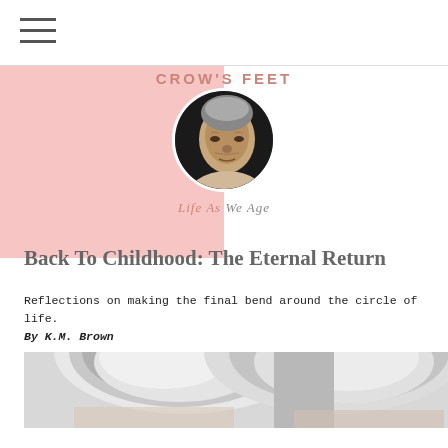CROW'S FEET
[Figure (photo): Circular avatar portrait of an elderly person, black and white photo]
Life As We Age
Back To Childhood: The Eternal Return
Reflections on making the final bend around the circle of life.
By K.M. Brown
[Figure (photo): Black and white close-up photo strip showing tops of two elderly people's heads with white hair]